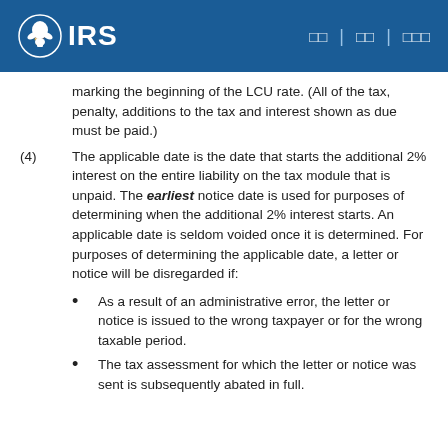IRS
marking the beginning of the LCU rate. (All of the tax, penalty, additions to the tax and interest shown as due must be paid.)
(4) The applicable date is the date that starts the additional 2% interest on the entire liability on the tax module that is unpaid. The earliest notice date is used for purposes of determining when the additional 2% interest starts. An applicable date is seldom voided once it is determined. For purposes of determining the applicable date, a letter or notice will be disregarded if:
As a result of an administrative error, the letter or notice is issued to the wrong taxpayer or for the wrong taxable period.
The tax assessment for which the letter or notice was sent is subsequently abated in full.